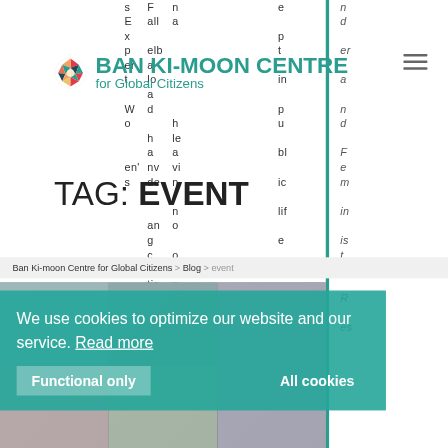[Figure (logo): Ban Ki-moon Centre for Global Citizens logo: colorful geometric sphere icon with organization name]
TAG: EVENT
Ban Ki-moon Centre for Global Citizens > Blog > event
[Figure (screenshot): Cookie consent banner overlay: 'We use cookies to optimize our website and our service. Read more' with 'Functional only' and 'All cookies' buttons, overlaid on event page with photos]
We use cookies to optimize our website and our service. Read more
Functional only
All cookies